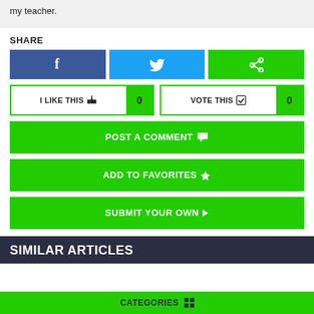my teacher.
SHARE
[Figure (screenshot): Social share buttons: Facebook (blue), Twitter (cyan), Share (green)]
[Figure (screenshot): I LIKE THIS button with count 0, and VOTE THIS button with count 0]
POST A COMMENT
ADD TO FAVORITES
SUBMIT YOUR OWN
SIMILAR ARTICLES
CATEGORIES